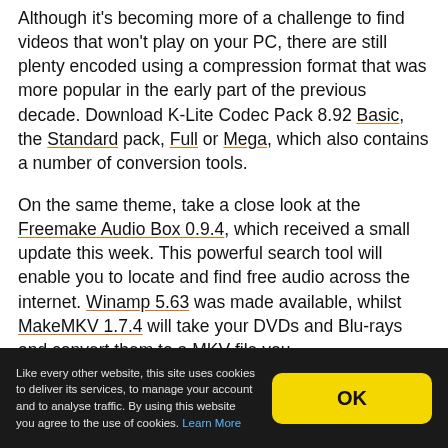Although it's becoming more of a challenge to find videos that won't play on your PC, there are still plenty encoded using a compression format that was more popular in the early part of the previous decade. Download K-Lite Codec Pack 8.92 Basic, the Standard pack, Full or Mega, which also contains a number of conversion tools.
On the same theme, take a close look at the Freemake Audio Box 0.9.4, which received a small update this week. This powerful search tool will enable you to locate and find free audio across the internet. Winamp 5.63 was made available, whilst MakeMKV 1.7.4 will take your DVDs and Blu-rays and convert them to a MKV file you
Like every other website, this site uses cookies to deliver its services, to manage your account and to analyse traffic. By using this website you agree to the use of cookies. Learn More